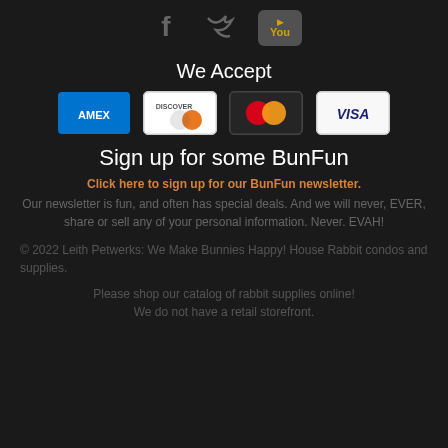[Figure (infographic): Social media icons: Facebook, Twitter, YouTube]
We Accept
[Figure (infographic): Payment method icons: AMEX, Discover, Mastercard, Visa]
Sign up for some BunFun
Click here to sign up for our BunFun newsletter.
Our newsletter is fun, and often has special deals. And we will never, EVER, share or sell any of your personal information. Never. EVAH!
© 2022 Leith Petwerks: We Make Bunnies Happy! House Rabbit condos and supplies.
Please shop our catalog of rabbit supplies online!
We do not have a retail storefront.